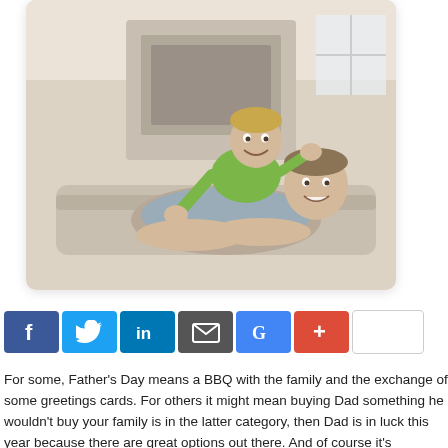[Figure (photo): A smiling father lying on a couch/floor with his young son on his back, both happy. Indoor setting with fireplace in background.]
[Figure (infographic): Social media share bar with buttons for Facebook, Twitter, LinkedIn, Email, Google+, Plus, and a share count box]
For some, Father's Day means a BBQ with the family and the exchange of some greetings cards. For others it might mean buying Dad something he wouldn't buy your family is in the latter category, then Dad is in luck this year because there are great options out there. And of course it's important to remember that Father's Da fathers and grandfathers. If you have an uncle (or teacher, neighbor or any other role in your life, this is a great time of the year to show your appreciation with a ni